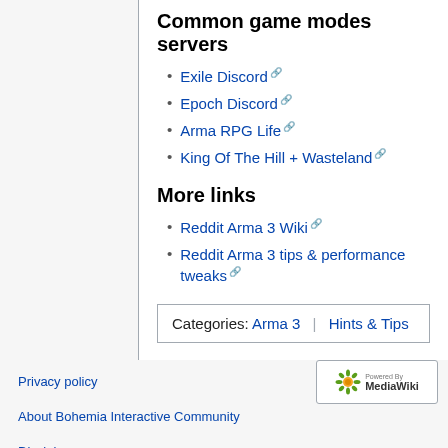Common game modes servers
Exile Discord
Epoch Discord
Arma RPG Life
King Of The Hill + Wasteland
More links
Reddit Arma 3 Wiki
Reddit Arma 3 tips & performance tweaks
| Categories: | Arma 3 | Hints & Tips |
| --- | --- | --- |
Privacy policy
About Bohemia Interactive Community
Disclaimers